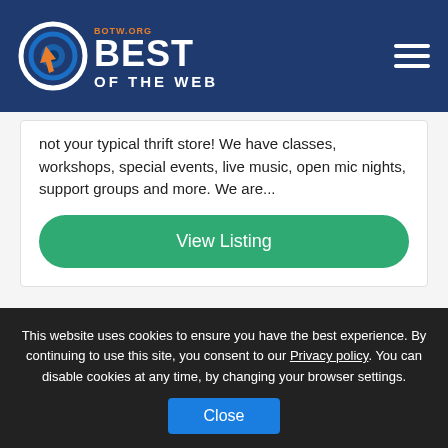[Figure (logo): Best of the Web (BOTW.org) logo — circular target icon with orange arrow cursor, white bold text BEST OF THE WEB on dark navy background, with hamburger menu icon on the right]
not your typical thrift store! We have classes, workshops, special events, live music, open mic nights, support groups and more. We are...
View Listing
This website uses cookies to ensure you have the best experience. By continuing to use this site, you consent to our Privacy policy. You can disable cookies at any time, by changing your browser settings.
Close